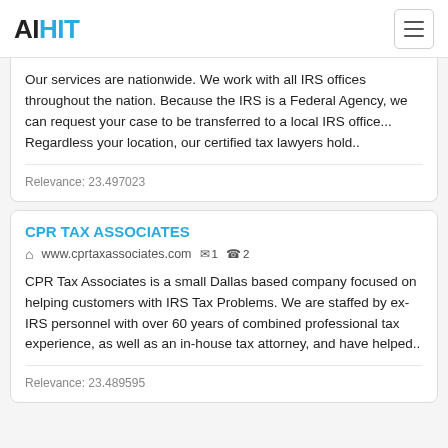AIHIT
Our services are nationwide. We work with all IRS offices throughout the nation. Because the IRS is a Federal Agency, we can request your case to be transferred to a local IRS office... Regardless your location, our certified tax lawyers hold..
Relevance: 23.497023
CPR TAX ASSOCIATES
www.cprtaxassociates.com  1  2
CPR Tax Associates is a small Dallas based company focused on helping customers with IRS Tax Problems. We are staffed by ex-IRS personnel with over 60 years of combined professional tax experience, as well as an in-house tax attorney, and have helped..
Relevance: 23.489595